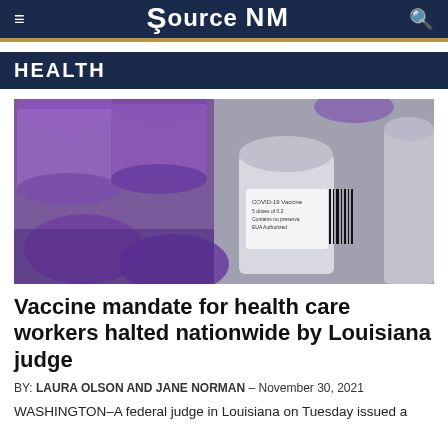Source NM
HEALTH
[Figure (photo): Close-up photograph of COVID-19 vaccine vials with purple caps, one vial in the center showing a label reading 'COVID-19 Vaccine', surrounded by other purple-capped vials.]
Vaccine mandate for health care workers halted nationwide by Louisiana judge
BY: LAURA OLSON AND JANE NORMAN - November 30, 2021
WASHINGTON–A federal judge in Louisiana on Tuesday issued a